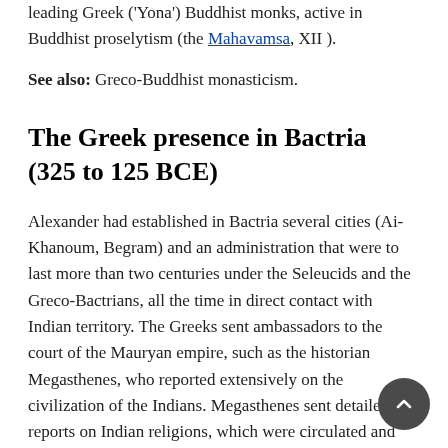leading Greek ('Yona') Buddhist monks, active in Buddhist proselytism (the Mahavamsa, XII ).
See also: Greco-Buddhist monasticism.
The Greek presence in Bactria (325 to 125 BCE)
Alexander had established in Bactria several cities (Ai-Khanoum, Begram) and an administration that were to last more than two centuries under the Seleucids and the Greco-Bactrians, all the time in direct contact with Indian territory. The Greeks sent ambassadors to the court of the Mauryan empire, such as the historian Megasthenes, who reported extensively on the civilization of the Indians. Megasthenes sent detailed reports on Indian religions, which were circulated and quoted throughout the Classical world for centuries :